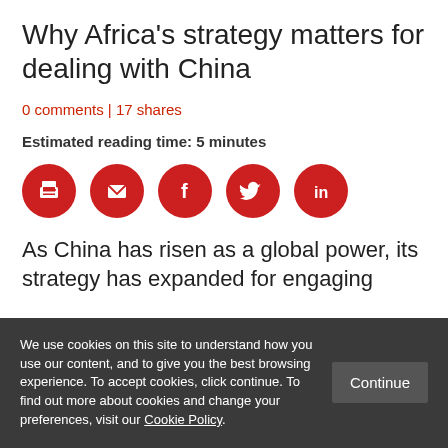Why Africa's strategy matters for dealing with China
0 comments | 17 shares
Estimated reading time: 5 minutes
[Figure (other): Row of five red circular social sharing icons: print, email, Facebook, Twitter, LinkedIn]
As China has risen as a global power, its strategy has expanded for engaging
We use cookies on this site to understand how you use our content, and to give you the best browsing experience. To accept cookies, click continue. To find out more about cookies and change your preferences, visit our Cookie Policy.